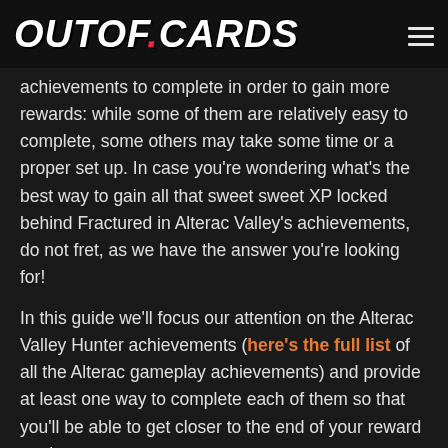OUTOF.CARDS
achievements to complete in order to gain more rewards: while some of them are relatively easy to complete, some others may take some time or a proper set up. In case you're wondering what's the best way to gain all that sweet sweet XP locked behind Fractured in Alterac Valley's achievements, do not fret, as we have the answer you're looking for!
In this guide we'll focus our attention on the Alterac Valley Hunter achievements (here's the full list of all the Alterac gameplay achievements) and provide at least one way to complete each of them so that you'll be able to get closer to the end of your reward track.
Disclaimer: as always, all expansion achievements